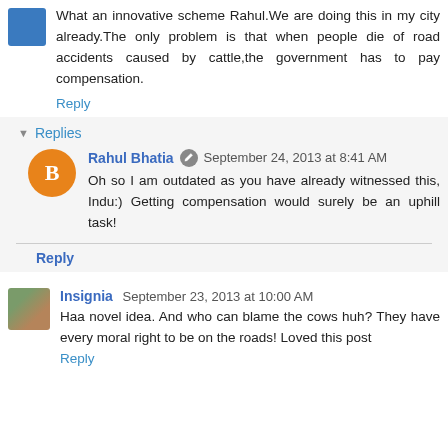What an innovative scheme Rahul.We are doing this in my city already.The only problem is that when people die of road accidents caused by cattle,the government has to pay compensation.
Reply
Replies
Rahul Bhatia  September 24, 2013 at 8:41 AM
Oh so I am outdated as you have already witnessed this, Indu:) Getting compensation would surely be an uphill task!
Reply
Insignia  September 23, 2013 at 10:00 AM
Haa novel idea. And who can blame the cows huh? They have every moral right to be on the roads! Loved this post
Reply